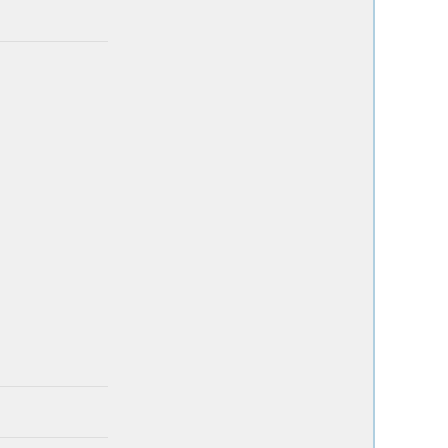| Institution | Field | Deadline | Applicants |
| --- | --- | --- | --- |
| Washington U* |  |  | Roude... |
| Georgia Tech* | math/stat | Oct 1 | Thomas Bieske...
Yekate...
Epsht...
Sham... (strikethrough)
Gurev... (strikethrough)
Xia Hu...
Lek-H... (italic)
Lim, K... (italic)
Louni... (bold)
Pavlo... (strikethrough)
Pylyat... (strikethrough)
Rober...
Young...
Josep... (bold)
Yu (bold) |
| Harvard University | Stat | Jan 4 |  |
| Illinois Tech (a)* | applied/stat | Nov | Vasile... (strikethrough)
Marot... (strikethrough) |
| Illinois State | stat | ? |  |